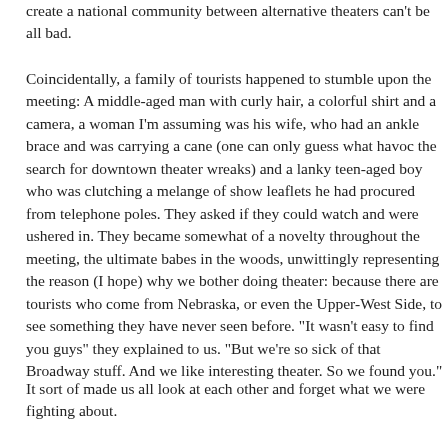create a national community between alternative theaters can't be all bad.
Coincidentally, a family of tourists happened to stumble upon the meeting: A middle-aged man with curly hair, a colorful shirt and a camera, a woman I'm assuming was his wife, who had an ankle brace and was carrying a cane (one can only guess what havoc the search for downtown theater wreaks) and a lanky teen-aged boy who was clutching a melange of show leaflets he had procured from telephone poles. They asked if they could watch and were ushered in. They became somewhat of a novelty throughout the meeting, the ultimate babes in the woods, unwittingly representing the reason (I hope) why we bother doing theater: because there are tourists who come from Nebraska, or even the Upper-West Side, to see something they have never seen before. "It wasn't easy to find you guys" they explained to us. "But we're so sick of that Broadway stuff. And we like interesting theater. So we found you."
It sort of made us all look at each other and forget what we were fighting about.